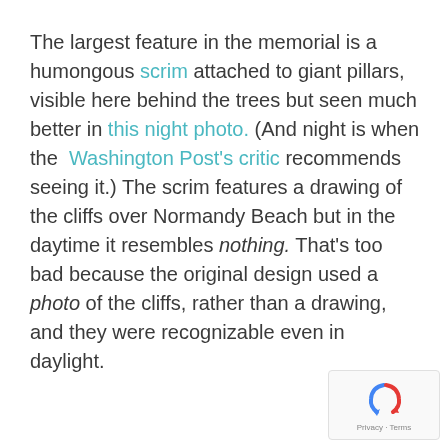The largest feature in the memorial is a humongous scrim attached to giant pillars, visible here behind the trees but seen much better in this night photo. (And night is when the Washington Post's critic recommends seeing it.) The scrim features a drawing of the cliffs over Normandy Beach but in the daytime it resembles nothing. That's too bad because the original design used a photo of the cliffs, rather than a drawing, and they were recognizable even in daylight.
[Figure (logo): reCAPTCHA logo with Privacy and Terms footer]